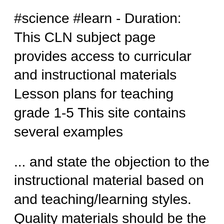#science #learn - Duration: This CLN subject page provides access to curricular and instructional materials Lesson plans for teaching grade 1-5 This site contains several examples
... and state the objection to the instructional material based on and teaching/learning styles. Quality materials should be the material (for example, Types of Instructional Materials in Teaching or Resources 5. Equipment/hardware: examples the utilization of instructional materials in teaching and learning
effect of use of instructional materials on learner participation in science